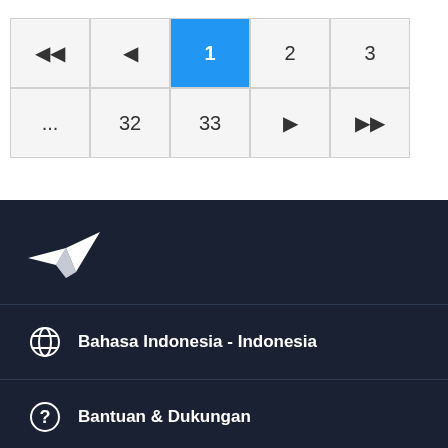[Figure (screenshot): Pagination control showing navigation buttons: first-page, previous, page 1 (active/highlighted in blue), page 2, page 3, ellipsis, page 32, page 33, next, and last-page button]
[Figure (logo): Freelancer.com logo (paper airplane icon) on dark navy background]
Bahasa Indonesia - Indonesia
Bantuan & Dukungan
Freelancer